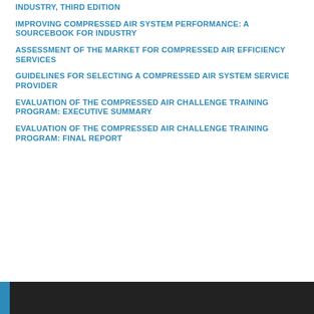INDUSTRY, THIRD EDITION
IMPROVING COMPRESSED AIR SYSTEM PERFORMANCE: A SOURCEBOOK FOR INDUSTRY
ASSESSMENT OF THE MARKET FOR COMPRESSED AIR EFFICIENCY SERVICES
GUIDELINES FOR SELECTING A COMPRESSED AIR SYSTEM SERVICE PROVIDER
EVALUATION OF THE COMPRESSED AIR CHALLENGE TRAINING PROGRAM: EXECUTIVE SUMMARY
EVALUATION OF THE COMPRESSED AIR CHALLENGE TRAINING PROGRAM: FINAL REPORT
[Figure (other): Dark banner/bar at the bottom of the page, likely part of a cover or decorative element]